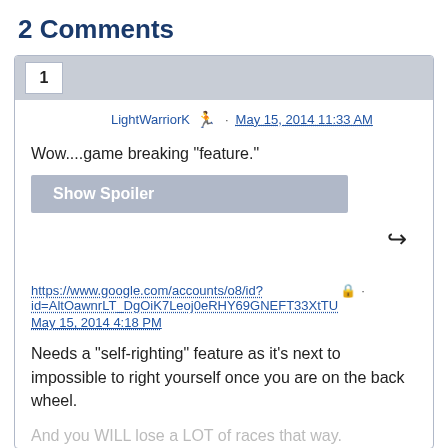2 Comments
LightWarriorK • May 15, 2014 11:33 AM
Wow....game breaking "feature."
Show Spoiler
https://www.google.com/accounts/o8/id?id=AltOawnrLT_DgOiK7Leoj0eRHY69GNEFT33XtTU • May 15, 2014 4:18 PM
Needs a "self-righting" feature as it's next to impossible to right yourself once you are on the back wheel.
And you WILL lose a LOT of races that way.